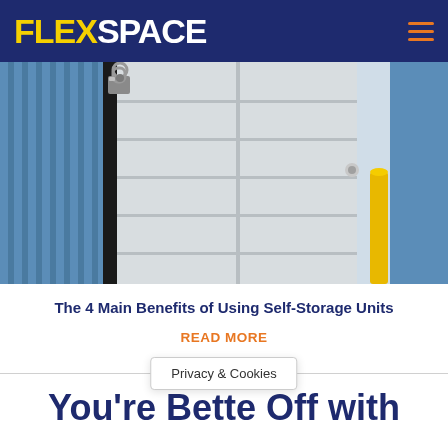FLEXSPACE
[Figure (photo): Close-up photo of self-storage unit doors with padlock in foreground, blue corrugated metal doors visible, yellow bollard in background hallway]
The 4 Main Benefits of Using Self-Storage Units
READ MORE
You're Better Off with
Privacy & Cookies